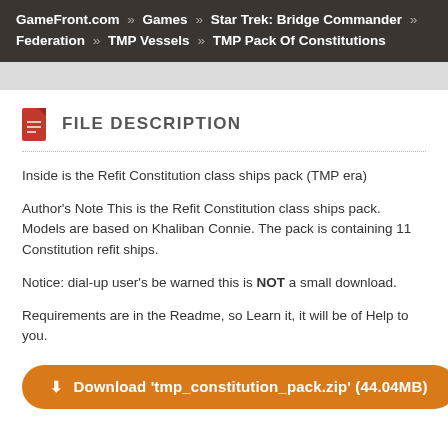GameFront.com » Games » Star Trek: Bridge Commander » Federation » TMP Vessels » TMP Pack Of Constitutions
FILE DESCRIPTION
Inside is the Refit Constitution class ships pack (TMP era)
Author's Note This is the Refit Constitution class ships pack. Models are based on Khaliban Connie. The pack is containing 11 Constitution refit ships.
Notice: dial-up user's be warned this is NOT a small download.
Requirements are in the Readme, so Learn it, it will be of Help to you.
Download 'tmp_constitution_pack.zip' (44.04MB)